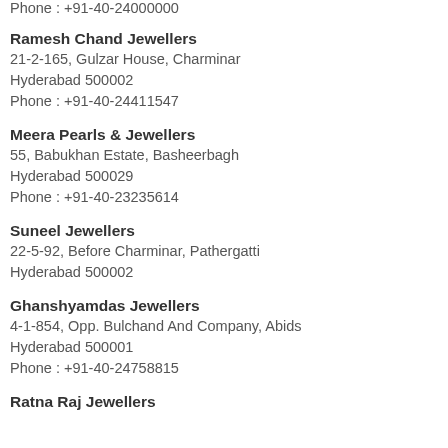Phone : +91-40-24000000
Ramesh Chand Jewellers
21-2-165, Gulzar House, Charminar
Hyderabad 500002
Phone : +91-40-24411547
Meera Pearls & Jewellers
55, Babukhan Estate, Basheerbagh
Hyderabad 500029
Phone : +91-40-23235614
Suneel Jewellers
22-5-92, Before Charminar, Pathergatti
Hyderabad 500002
Ghanshyamdas Jewellers
4-1-854, Opp. Bulchand And Company, Abids
Hyderabad 500001
Phone : +91-40-24758815
Ratna Raj Jewellers